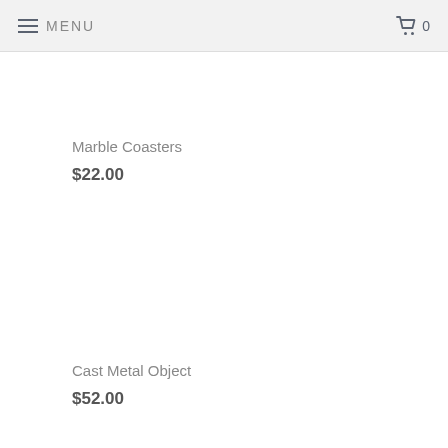≡ MENU  🛒 0
Marble Coasters
$22.00
Cast Metal Object
$52.00